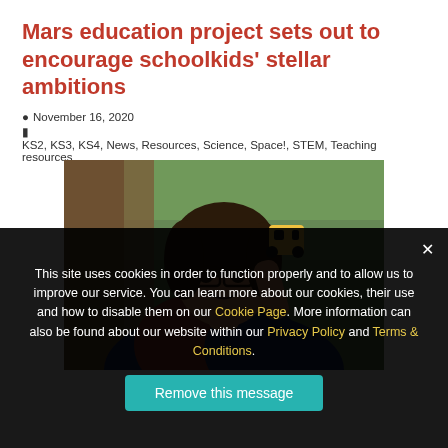Mars education project sets out to encourage schoolkids' stellar ambitions
November 16, 2020
KS2, KS3, KS4, News, Resources, Science, Space!, STEM, Teaching resources
[Figure (photo): A woman with glasses smiling and holding a small robotic vehicle/toy]
This site uses cookies in order to function properly and to allow us to improve our service. You can learn more about our cookies, their use and how to disable them on our Cookie Page. More information can also be found about our website within our Privacy Policy and Terms & Conditions.